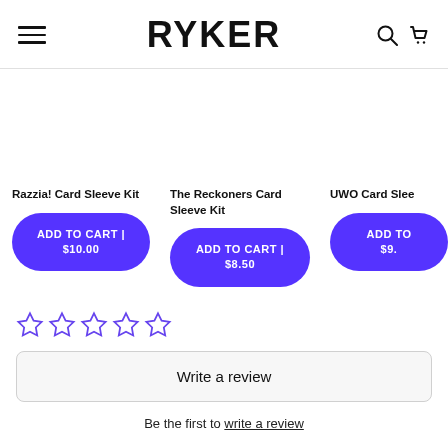RYKER
Razzia! Card Sleeve Kit
ADD TO CART | $10.00
The Reckoners Card Sleeve Kit
ADD TO CART | $8.50
UWO Card Sleeve
ADD TO $9.
[Figure (other): Five empty star rating icons in purple outline style]
Write a review
Be the first to write a review